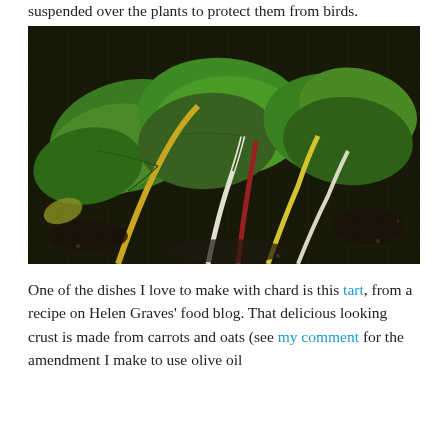suspended over the plants to protect them from birds.
[Figure (photo): Photograph of rainbow chard plants growing in dark soil, with large green leaves and colorful stems (yellow, white, red) visible against a dark netting background]
One of the dishes I love to make with chard is this tart, from a recipe on Helen Graves' food blog. That delicious looking crust is made from carrots and oats (see my comment for the amendment I make to use olive oil